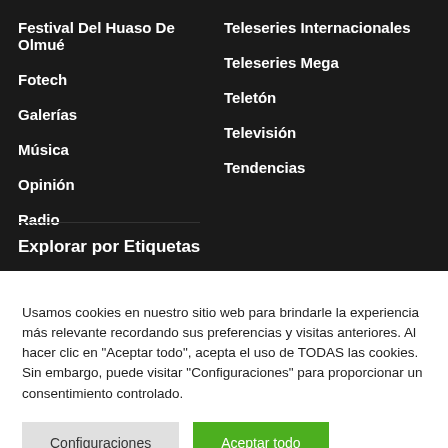Festival Del Huaso De Olmué
Teleseries Internacionales
Fotech
Teleseries Mega
Galerías
Teletón
Música
Televisión
Opinión
Tendencias
Radio
Explorar por Etiquetas
Usamos cookies en nuestro sitio web para brindarle la experiencia más relevante recordando sus preferencias y visitas anteriores. Al hacer clic en "Aceptar todo", acepta el uso de TODAS las cookies. Sin embargo, puede visitar "Configuraciones" para proporcionar un consentimiento controlado.
Configuraciones
Aceptar todo